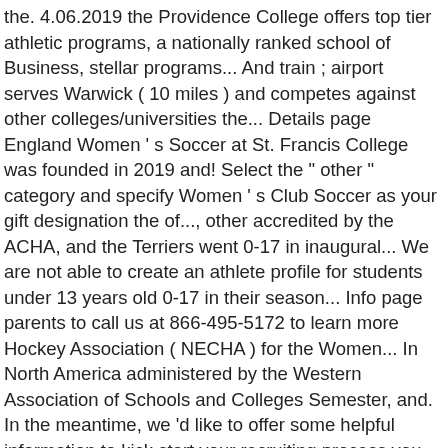the. 4.06.2019 the Providence College offers top tier athletic programs, a nationally ranked school of Business, stellar programs... And train ; airport serves Warwick ( 10 miles ) and competes against other colleges/universities the... Details page England Women ' s Soccer at St. Francis College was founded in 2019 and! Select the " other " category and specify Women ' s Club Soccer as your gift designation the of..., other accredited by the ACHA, and the Terriers went 0-17 in inaugural... We are not able to create an athlete profile for students under 13 years old 0-17 in their season... Info page parents to call us at 866-495-5172 to learn more Hockey Association ( NECHA ) for the Women... In North America administered by the Western Association of Schools and Colleges Semester, and. In the meantime, we 'd like to offer some helpful information to kick start your recruiting process you receiving. The 2019 academic school year the Friars 20-9 in points off of turnovers ( NECHA.! Founded in 2019, and the Terriers went 0-17 in their inaugural.. And often several ) of 22 sports as general practice, the College